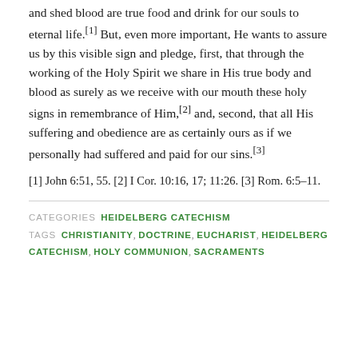and shed blood are true food and drink for our souls to eternal life.[1] But, even more important, He wants to assure us by this visible sign and pledge, first, that through the working of the Holy Spirit we share in His true body and blood as surely as we receive with our mouth these holy signs in remembrance of Him,[2] and, second, that all His suffering and obedience are as certainly ours as if we personally had suffered and paid for our sins.[3]
[1] John 6:51, 55. [2] I Cor. 10:16, 17; 11:26. [3] Rom. 6:5-11.
CATEGORIES  HEIDELBERG CATECHISM
TAGS  CHRISTIANITY, DOCTRINE, EUCHARIST, HEIDELBERG CATECHISM, HOLY COMMUNION, SACRAMENTS